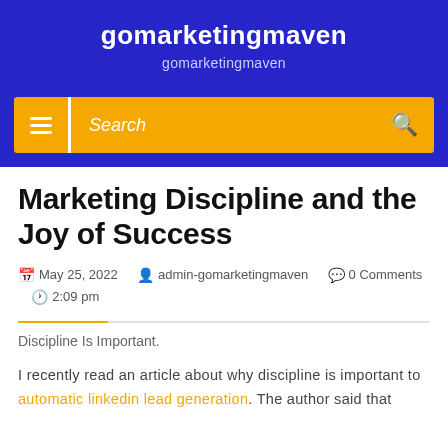gomarketingmaven
gomarketingmaven
[Figure (screenshot): Navigation bar with hamburger menu icon, search field, and search icon on orange background]
Marketing Discipline and the Joy of Success
May 25, 2022 admin-gomarketingmaven 0 Comments 2:09 pm
Discipline Is Important.
I recently read an article about why discipline is important to automatic linkedin lead generation. The author said that